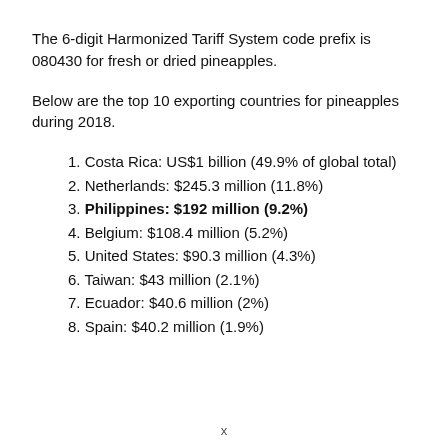The 6-digit Harmonized Tariff System code prefix is 080430 for fresh or dried pineapples.
Below are the top 10 exporting countries for pineapples during 2018.
1. Costa Rica: US$1 billion (49.9% of global total)
2. Netherlands: $245.3 million (11.8%)
3. Philippines: $192 million (9.2%)
4. Belgium: $108.4 million (5.2%)
5. United States: $90.3 million (4.3%)
6. Taiwan: $43 million (2.1%)
7. Ecuador: $40.6 million (2%)
8. Spain: $40.2 million (1.9%)